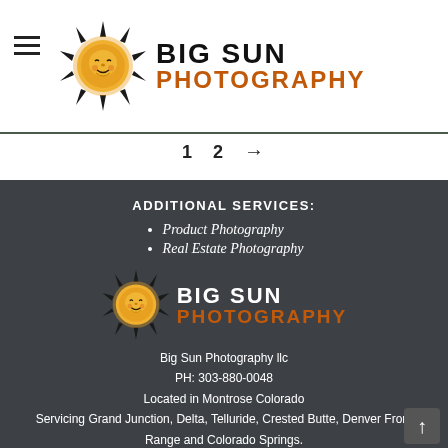[Figure (logo): Big Sun Photography logo with sun illustration and brand name]
1   2   →
ADDITIONAL SERVICES:
Product Photography
Real Estate Photography
[Figure (logo): Big Sun Photography footer logo with sun illustration]
Big Sun Photography llc
PH: 303-880-0048
Located in Montrose Colorado
Servicing Grand Junction, Delta, Telluride, Crested Butte, Denver Front Range and Colorado Springs.